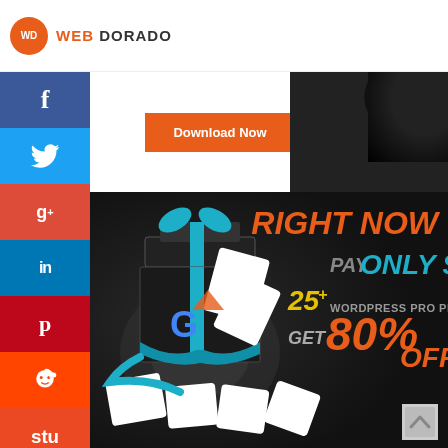[Figure (logo): Web Dorado logo with orange circle containing WD initials and text WEB DORADO]
[Figure (infographic): Orange Download Now button with dark splatter background]
[Figure (infographic): Ad banner on dark background showing gift box with WordPress plugin cards, text: RIGHT NOW PAY ONLY $99, 25+ WORDPRESS PRO PLUGINS, GET 80% OFF]
[Figure (infographic): Vertical social media buttons: Facebook, Twitter, Google+, LinkedIn, Pinterest, Reddit, StumbleUpon, YouTube]